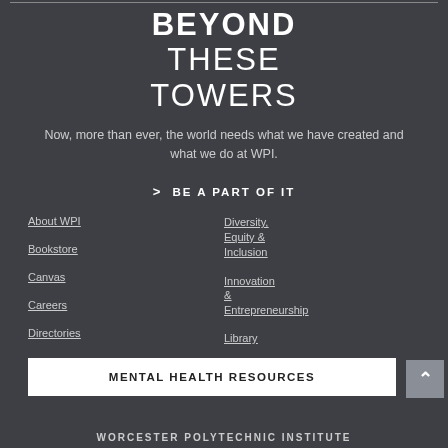BEYOND THESE TOWERS
Now, more than ever, the world needs what we have created and what we do at WPI.
> BE A PART OF IT
About WPI
Bookstore
Canvas
Careers
Directories
Diversity, Equity & Inclusion
Innovation & Entrepreneurship
Library
Offices
MENTAL HEALTH RESOURCES
WORCESTER POLYTECHNIC INSTITUTE